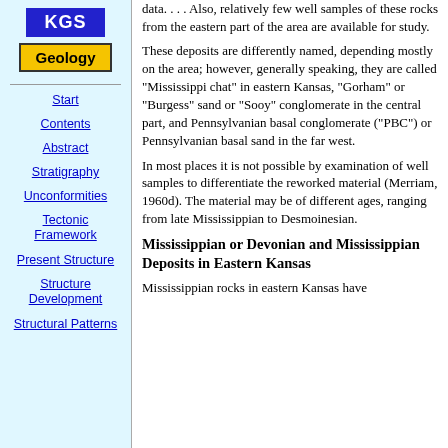[Figure (logo): KGS blue logo box with white text 'KGS']
[Figure (logo): Geology yellow button with black text 'Geology']
Start
Contents
Abstract
Stratigraphy
Unconformities
Tectonic Framework
Present Structure
Structure Development
Structural Patterns
data. . . . Also, relatively few well samples of these rocks from the eastern part of the area are available for study.
These deposits are differently named, depending mostly on the area; however, generally speaking, they are called "Mississippi chat" in eastern Kansas, "Gorham" or "Burgess" sand or "Sooy" conglomerate in the central part, and Pennsylvanian basal conglomerate ("PBC") or Pennsylvanian basal sand in the far west.
In most places it is not possible by examination of well samples to differentiate the reworked material (Merriam, 1960d). The material may be of different ages, ranging from late Mississippian to Desmoinesian.
Mississippian or Devonian and Mississippian Deposits in Eastern Kansas
Mississippian rocks in eastern Kansas have